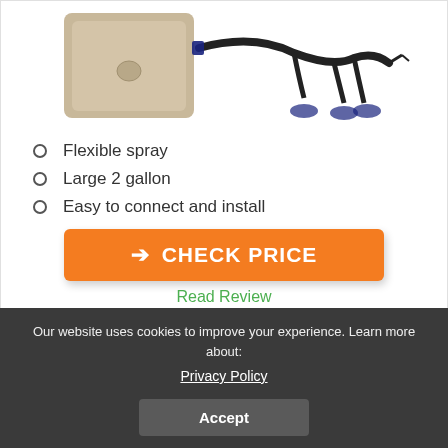[Figure (photo): Product image showing a beige/tan rectangular container/box and black cables with suction cup attachments, on white background]
Flexible spray
Large 2 gallon
Easy to connect and install
CHECK PRICE
Read Review
Our website uses cookies to improve your experience. Learn more about:
Privacy Policy
Accept